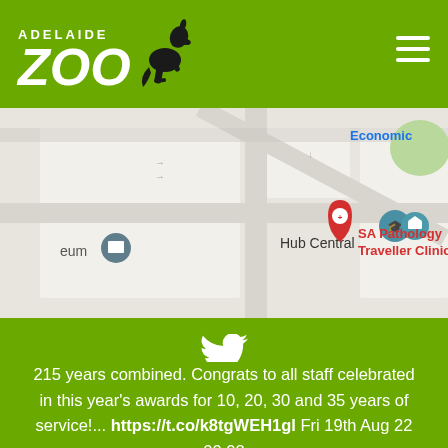Adelaide Zoo
[Figure (map): Street map showing area near Adelaide Zoo with landmarks: Hub Central, SA Pathology Traveller Clinic, Frome Rd, Economic (partial), and museum pin (partial at left edge)]
[Figure (illustration): Twitter bird icon in white on green background]
215 years combined. Congrats to all staff celebrated in this year's awards for 10, 20, 30 and 35 years of service!... https://t.co/k8tgWEH1gl Fri 19th Aug 22 00:02
[Figure (illustration): Social media icons: Facebook, YouTube, and Instagram at bottom of green section]